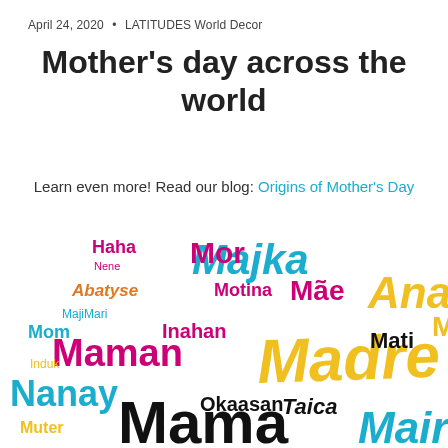April 24, 2020  •  LATITUDES World Decor
Mother's day across the world
Learn even more! Read our blog: Origins of Mother's Day
[Figure (illustration): Word cloud showing the word 'mother' in many different languages, including Madre, Mama, Maman, Nanay, Majka, Mae, Mati, Ana, Mzaa, Ama, Inahan, Motina, Okaasan, Taica, Mutter, Valide, Biang, Mamm, Pabo, Nyokap, Medra, Omm, Makuahine, Haha, Mor, Nene, Abatyse, MajiMari, Mom, Induk, Mamá, Ibu, Mère, Mithair, Mere, Mana, Eadni, Mai, Mater, Ana, Reny, Eje, Haxyi, Iloy, Ema, Bat, Mec, Ā, Daya, Dul, Mana, Medra, Maira, displayed in various colors including magenta, teal/cyan, yellow, black, pink, orange, and green.]